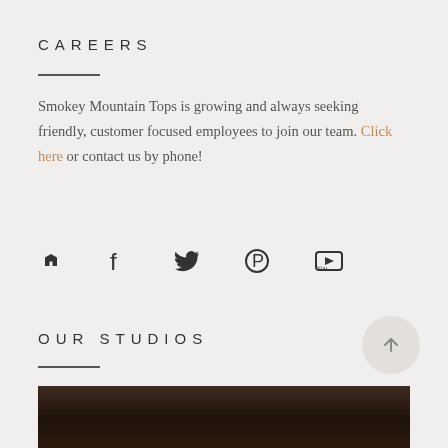CAREERS
Smokey Mountain Tops is growing and always seeking friendly, customer focused employees to join our team. Click here or contact us by phone!
[Figure (other): Row of social media icons: Houzz, Facebook, Twitter, Pinterest, YouTube]
OUR STUDIOS
[Figure (photo): Dark stone countertop surface photograph, partially visible at bottom of page]